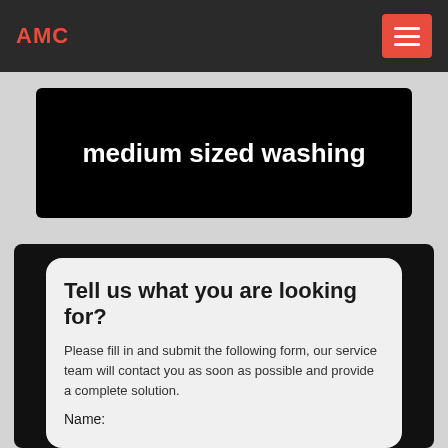AMC
medium sized washing
Tell us what you are looking for?
Please fill in and submit the following form, our service team will contact you as soon as possible and provide a complete solution.
Name: